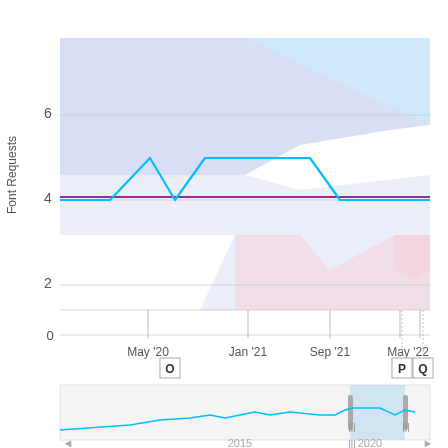[Figure (continuous-plot): Time series chart showing Font Requests over time from May 2020 to May 2022. Contains a cyan/blue stepped line, a horizontal magenta/purple line at ~3.8, a large blue shaded area band, and a pink/rose shaded area. Upper portion shows the main chart with y-axis labels 2, 4, 6. Lower portion shows a navigation/overview panel with x-axis labels May '20, Jan '21, Sep '21, May '22, with event markers O, P, Q. Bottom strip shows a broader time overview with labels 2015, 2020.]